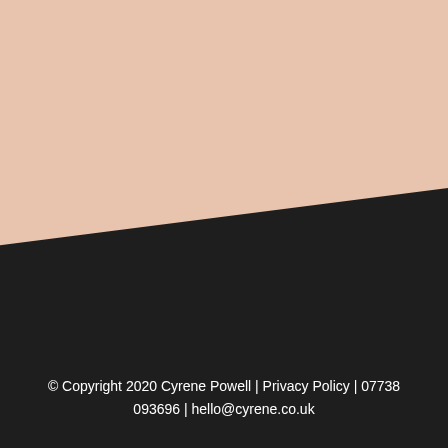[Figure (illustration): Page background with a peach/skin-tone upper section and a dark charcoal lower section separated by a diagonal line creating a geometric split design.]
© Copyright 2020 Cyrene Powell | Privacy Policy | 07738 093696 | hello@cyrene.co.uk